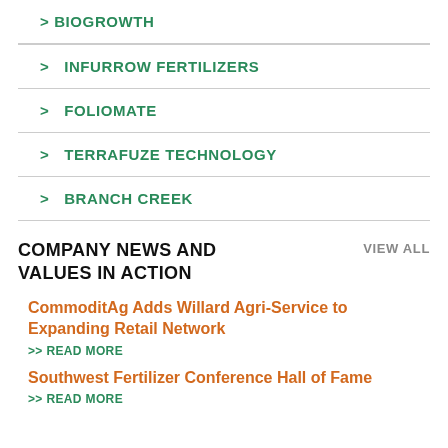> BIOGROWTH
> INFURROW FERTILIZERS
> FOLIOMATE
> TERRAFUZE TECHNOLOGY
> BRANCH CREEK
COMPANY NEWS AND VALUES IN ACTION
VIEW ALL
CommoditAg Adds Willard Agri-Service to Expanding Retail Network
>> READ MORE
Southwest Fertilizer Conference Hall of Fame
>> READ MORE